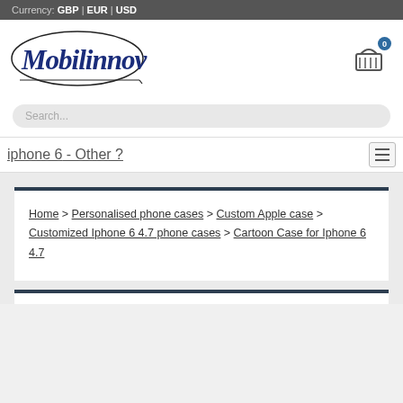Currency: GBP | EUR | USD
[Figure (logo): Mobilinnov cursive logo with oval ellipse graphic]
Search...
iphone 6  - Other ?
Home > Personalised phone cases > Custom Apple case > Customized Iphone 6 4.7 phone cases > Cartoon Case for Iphone 6 4.7